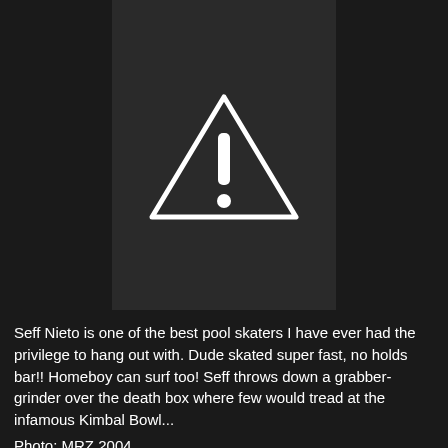[Figure (illustration): Warning triangle icon with exclamation mark on a dark background]
Seff Nieto is one of the best pool skaters I have ever had the privilege to hang out with. Dude skated super fast, no holds bar!! Homeboy can surf too! Seff throws down a grabber-grinder over the death box where few would tread at the infamous Kimbal Bowl...
Photo: MRZ 2004